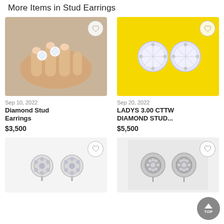More Items in Stud Earrings
[Figure (photo): Hand holding two diamond stud earrings, close-up photo on grey background]
Sep 10, 2022
Diamond Stud Earrings
$3,500
[Figure (photo): Two large round CZ/diamond stud earrings on a yellow background]
Sep 20, 2022
LADYS 3.00 CTTW DIAMOND STUD...
$5,500
[Figure (photo): Two silver diamond cluster stud earrings on white background]
[Figure (photo): Two round pave diamond halo stud earrings on grey background]